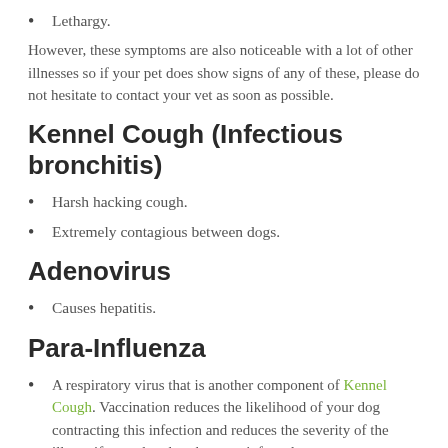Lethargy.
However, these symptoms are also noticeable with a lot of other illnesses so if your pet does show signs of any of these, please do not hesitate to contact your vet as soon as possible.
Kennel Cough (Infectious bronchitis)
Harsh hacking cough.
Extremely contagious between dogs.
Adenovirus
Causes hepatitis.
Para-Influenza
A respiratory virus that is another component of Kennel Cough. Vaccination reduces the likelihood of your dog contracting this infection and reduces the severity of the illness if your dog does become infected.
Leptospirosis